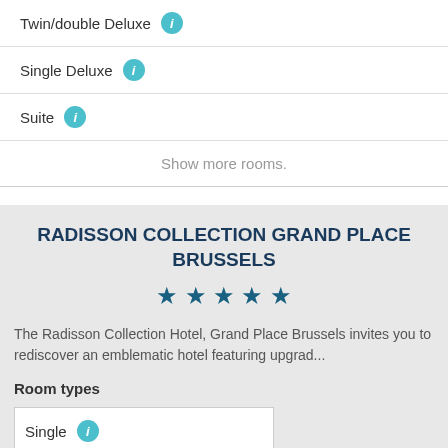Twin/double Deluxe
Single Deluxe
Suite
Show more rooms.
RADISSON COLLECTION GRAND PLACE BRUSSELS
★★★★★
The Radisson Collection Hotel, Grand Place Brussels invites you to rediscover an emblematic hotel featuring upgrad...
Room types
Single
(partial row)